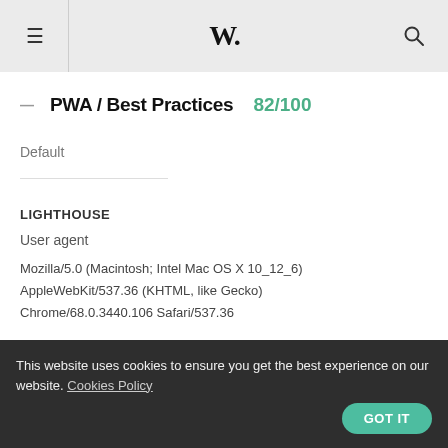W. (site logo with hamburger menu and search icon)
PWA / Best Practices  82/100
Default
LIGHTHOUSE
User agent
Mozilla/5.0 (Macintosh; Intel Mac OS X 10_12_6) AppleWebKit/537.36 (KHTML, like Gecko) Chrome/68.0.3440.106 Safari/537.36
This website uses cookies to ensure you get the best experience on our website. Cookies Policy  GOT IT